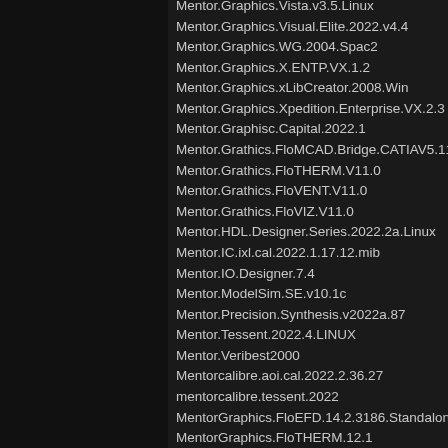Mentor.Graphics.Vista.v3.5.Linux
Mentor.Graphics.Visual.Elite.2022.v4.4
Mentor.Graphics.WG.2004.Spac2
Mentor.Graphics.X.ENTP.VX.1.2
Mentor.Graphics.xLibCreator.2008.Win
Mentor.Graphics.Xpedition.Enterprise.VX.2.3
Mentor.Graphisc.Capital.2022.1
Mentor.Grathics.FloMCAD.Bridge.CATIAV5.11.0
Mentor.Grathics.FloTHERM.V11.0
Mentor.Grathics.FloVENT.V11.0
Mentor.Grathics.FloVIZ.V11.0
Mentor.HDL.Designer.Series.2022.2a.Linux
Mentor.IC.ixl.cal.2022.1.17.12.mib
Mentor.IO.Designer.7.4
Mentor.ModelSim.SE.v10.1c
Mentor.Precision.Synthesis.v2022a.87
Mentor.Tessent.2022.4.LINUX
Mentor.Veribest2000
Mentorcalibre.aoi.cal.2022.2.36.27
mentorcalibre.tessent.2022
MentorGraphics.FloEFD.14.2.3186.Standalone
MentorGraphics.FloTHERM.12.1
MentorGraphics.FloTHERM.XT.2.2
MEPLA.v2.5.4
MERC...